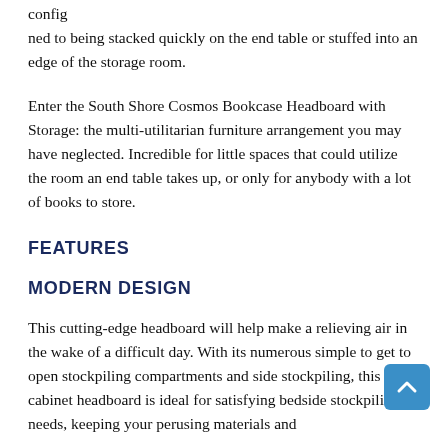config
ned to being stacked quickly on the end table or stuffed into an edge of the storage room.
Enter the South Shore Cosmos Bookcase Headboard with Storage: the multi-utilitarian furniture arrangement you may have neglected. Incredible for little spaces that could utilize the room an end table takes up, or only for anybody with a lot of books to store.
FEATURES
MODERN DESIGN
This cutting-edge headboard will help make a relieving air in the wake of a difficult day. With its numerous simple to get to open stockpiling compartments and side stockpiling, this cabinet headboard is ideal for satisfying bedside stockpiling needs, keeping your perusing materials and